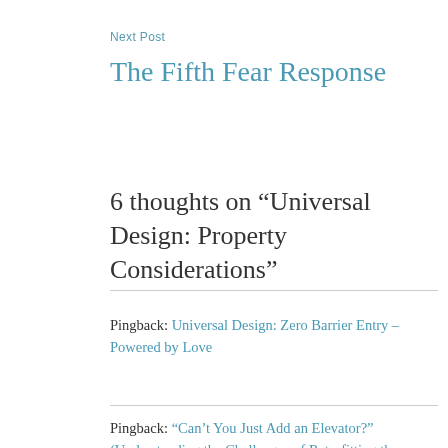Next Post
The Fifth Fear Response
6 thoughts on “Universal Design: Property Considerations”
Pingback: Universal Design: Zero Barrier Entry – Powered by Love
Pingback: “Can’t You Just Add an Elevator?” (Understanding the Challenges of Retrofitting the